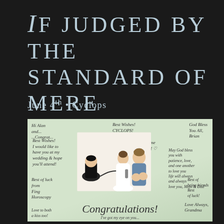If judged by the standard of mere time.
June 4th • Cyclops
[Figure (photo): A wedding guestbook card with a light green background, featuring cartoon figurines of a bride, groom, and another character in the center, surrounded by handwritten congratulatory messages and signatures. The word 'Congratulations!' is written in cursive at the bottom of the card.]